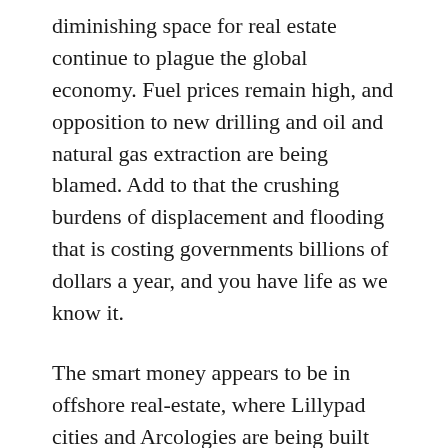diminishing space for real estate continue to plague the global economy. Fuel prices remain high, and opposition to new drilling and oil and natural gas extraction are being blamed. Add to that the crushing burdens of displacement and flooding that is costing governments billions of dollars a year, and you have life as we know it.
The smart money appears to be in offshore real-estate, where Lillypad cities and Arcologies are being built along the coastlines of the world. Already, habitats have been built in Boston, New York, New Orleans, Tokyo, Shanghai, Hong Kong and the south of France, and more are expected in the coming years. These are the most promising solution of what to do about the constant flooding and damage being caused by rising tides and